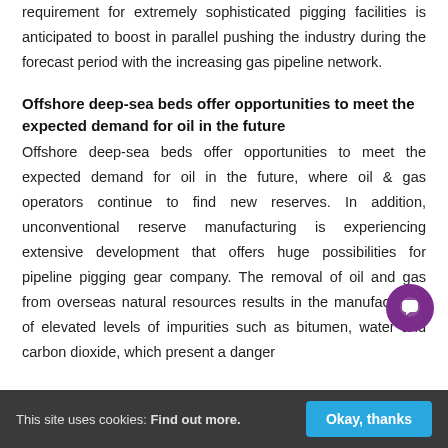requirement for extremely sophisticated pigging facilities is anticipated to boost in parallel pushing the industry during the forecast period with the increasing gas pipeline network.
Offshore deep-sea beds offer opportunities to meet the expected demand for oil in the future
Offshore deep-sea beds offer opportunities to meet the expected demand for oil in the future, where oil & gas operators continue to find new reserves. In addition, unconventional reserve manufacturing is experiencing extensive development that offers huge possibilities for pipeline pigging gear company. The removal of oil and gas from overseas natural resources results in the manufacturing of elevated levels of impurities such as bitumen, water and carbon dioxide, which present a danger
This site uses cookies: Find out more.